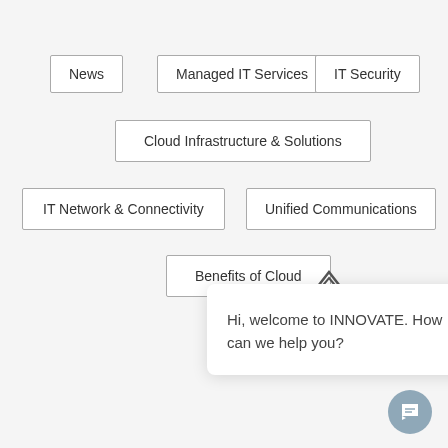News
Managed IT Services
IT Security
Cloud Infrastructure & Solutions
IT Network & Connectivity
Unified Communications
Benefits of Cloud
[Figure (infographic): Diamond/rhombus shaped logo icon for INNOVATE chatbot]
Hi, welcome to INNOVATE. How can we help you?
[Figure (infographic): Chat bubble button icon in grayish-blue circle]